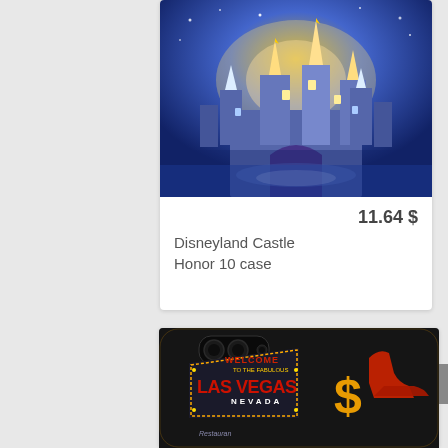[Figure (photo): Phone case product showing illuminated Disneyland castle at night with blue/purple magical lighting and reflections on water]
11.64 $
Disneyland Castle Honor 10 case
[Figure (photo): Phone case product showing Las Vegas Nevada welcome sign with neon lights on black background, showing camera cutout at top]